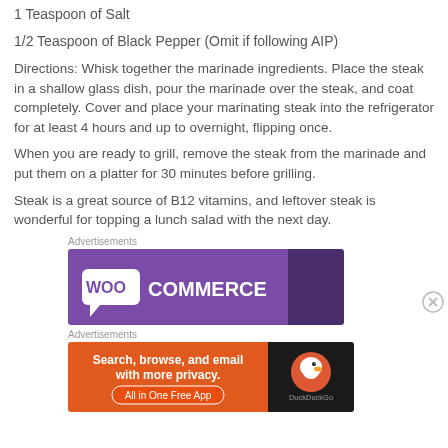1 Teaspoon of Salt
1/2 Teaspoon of Black Pepper (Omit if following AIP)
Directions: Whisk together the marinade ingredients. Place the steak in a shallow glass dish, pour the marinade over the steak, and coat completely. Cover and place your marinating steak into the refrigerator for at least 4 hours and up to overnight, flipping once.
When you are ready to grill, remove the steak from the marinade and put them on a platter for 30 minutes before grilling.
Steak is a great source of B12 vitamins, and leftover steak is wonderful for topping a lunch salad with the next day.
Advertisements
[Figure (screenshot): WooCommerce advertisement banner with purple background and white WooCommerce logo]
Advertisements
[Figure (screenshot): DuckDuckGo advertisement banner: Search, browse, and email with more privacy. All in One Free App]